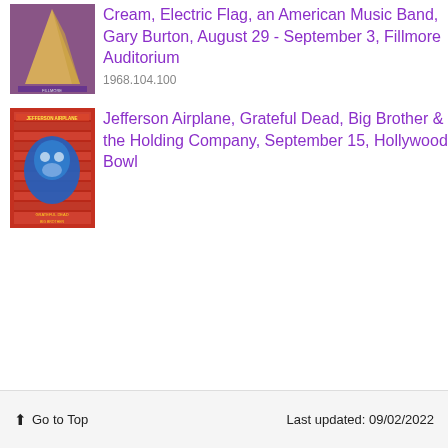[Figure (photo): Thumbnail of a concert poster with purple and geometric design for Cream, Electric Flag at Fillmore]
Cream, Electric Flag, an American Music Band, Gary Burton, August 29 - September 3, Fillmore Auditorium
1968.104.100
[Figure (photo): Thumbnail of a psychedelic concert poster with blue and red design for Jefferson Airplane, Grateful Dead, Big Brother at Hollywood Bowl]
Jefferson Airplane, Grateful Dead, Big Brother & the Holding Company, September 15, Hollywood Bowl
Go to Top   Last updated: 09/02/2022